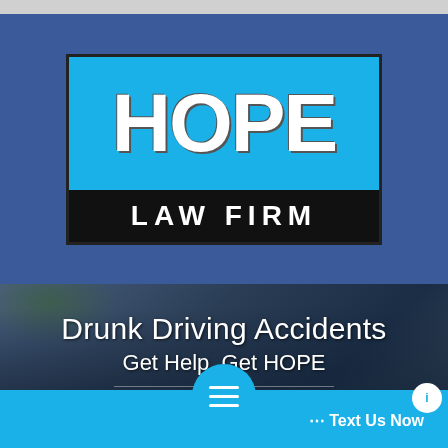[Figure (logo): Hope Law Firm logo: 'HOPE' in large white bold text on cyan/blue background, 'LAW FIRM' in white bold spaced letters on black background, with dark border outline]
Drunk Driving Accidents
Get Help, Get HOPE
[Figure (screenshot): Blue hamburger menu button at bottom center and 'Text Us Now' chat bubble in bottom right corner on cyan bar]